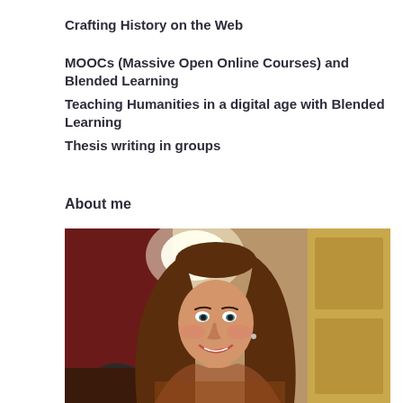Crafting History on the Web
MOOCs (Massive Open Online Courses) and Blended Learning
Teaching Humanities in a digital age with Blended Learning
Thesis writing in groups
About me
[Figure (photo): Portrait photo of a smiling woman with long brown hair, taken in an ornate indoor setting with red curtains and gold decorative walls in the background.]